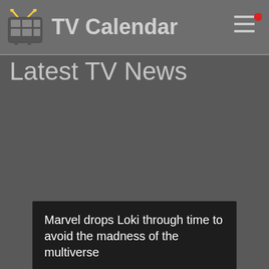TV Calendar
Latest TV News
Marvel drops Loki through time to avoid the madness of the multiverse